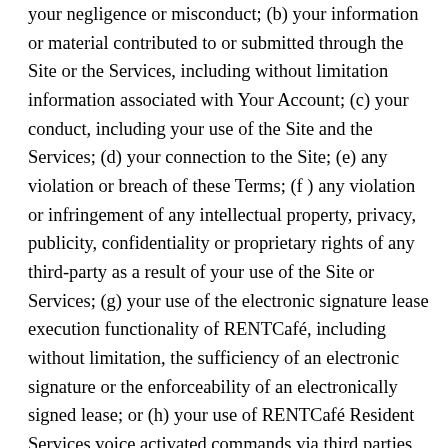your negligence or misconduct; (b) your information or material contributed to or submitted through the Site or the Services, including without limitation information associated with Your Account; (c) your conduct, including your use of the Site and the Services; (d) your connection to the Site; (e) any violation or breach of these Terms; (f) any violation or infringement of any intellectual property, privacy, publicity, confidentiality or proprietary rights of any third-party as a result of your use of the Site or Services; (g) your use of the electronic signature lease execution functionality of RENTCafé, including without limitation, the sufficiency of an electronic signature or the enforceability of an electronically signed lease; or (h) your use of RENTCafé Resident Services voice activated commands via third parties including but not